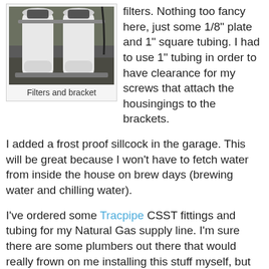[Figure (photo): Photo of two white water filter housings mounted on a bracket in a garage setting]
Filters and bracket
filters. Nothing too fancy here, just some 1/8" plate and 1" square tubing. I had to use 1" tubing in order to have clearance for my screws that attach the housingings to the brackets.
I added a frost proof sillcock in the garage. This will be great because I won't have to fetch water from inside the house on brew days (brewing water and chilling water).
I've ordered some Tracpipe CSST fittings and tubing for my Natural Gas supply line. I'm sure there are some plumbers out there that would really frown on me installing this stuff myself, but I've reviewed the instructions on the manufacturer's website it seems foolproof. My run will be between 10 and 12 feet since the utility room is in the basement just on the opposite side of the wall. On a related